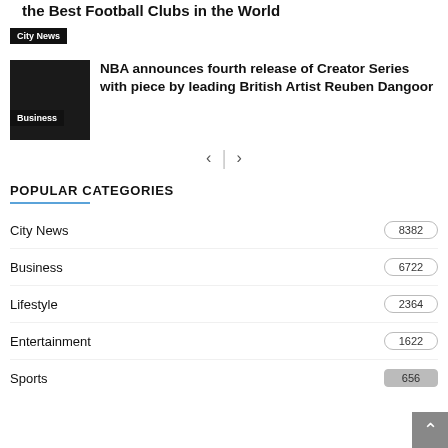the Best Football Clubs in the World
City News
NBA announces fourth release of Creator Series with piece by leading British Artist Reuben Dangoor
Business
POPULAR CATEGORIES
City News 8382
Business 6722
Lifestyle 2364
Entertainment 1622
Sports 656